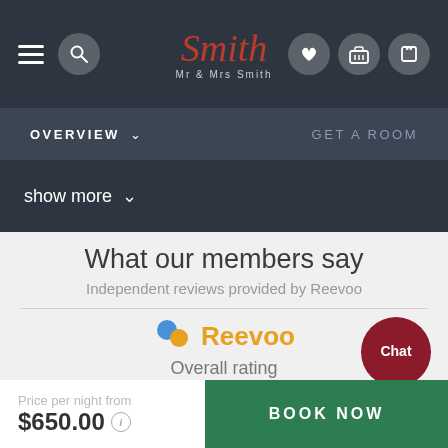[Figure (screenshot): Mr & Mrs Smith hotel booking website top navigation bar with hamburger menu, search icon, logo (script 'Smith' in red with 'Mr & Mrs Smith' below), and right-side icons for phone, heart, and luggage on dark background]
OVERVIEW  GET A ROOM
show more
What our members say
Independent reviews provided by Reevoo
[Figure (logo): Reevoo logo with two balloon dots (blue and orange) and orange bold text 'Reevoo']
Overall rating
Price per night from
$650.00
BOOK NOW